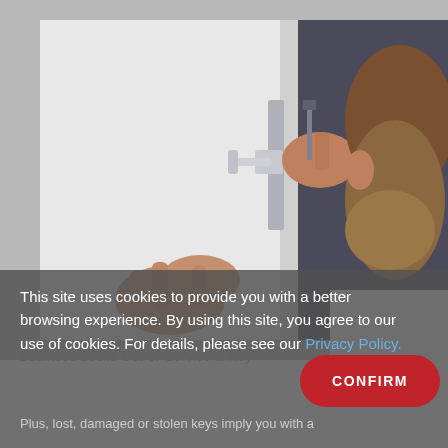[Figure (photo): A man installing or adjusting a door lock mechanism, with hands visible working on a door handle and lock plate on a white door with dark background.]
This site uses cookies to provide you with a better browsing experience. By using this site, you agree to our use of cookies. For details, please see our Privacy Policy.
CONFIRM
Plus, lost, damaged or stolen keys imply you with a